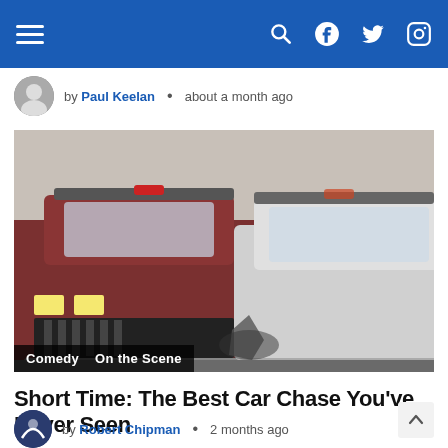Navigation bar with hamburger menu, search, Facebook, Twitter, Instagram icons
by Paul Keelan • about a month ago
[Figure (photo): Two police/emergency cars bumping into each other in a car chase scene. Tags: Comedy, On the Scene]
Short Time: The Best Car Chase You've Never Seen
by Robert Chipman • 2 months ago